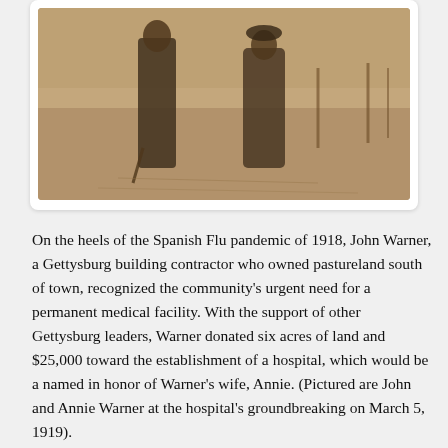[Figure (photo): Sepia-toned historical photograph showing two people standing outdoors on bare ground, likely at a groundbreaking ceremony. The figures are dressed in early 20th century clothing.]
On the heels of the Spanish Flu pandemic of 1918, John Warner, a Gettysburg building contractor who owned pastureland south of town, recognized the community’s urgent need for a permanent medical facility. With the support of other Gettysburg leaders, Warner donated six acres of land and $25,000 toward the establishment of a hospital, which would be a named in honor of Warner’s wife, Annie. (Pictured are John and Annie Warner at the hospital’s groundbreaking on March 5, 1919).
We celebrate the hospital’s centennial and pay tribute to the thousands of remarkable physicians, nurses, support staff, and volunteers who have helped establish WellSpan Gettysburg Hospital as a trusted place of hope and healing.